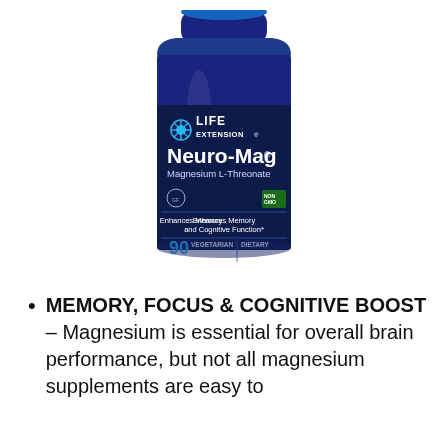[Figure (photo): Blue bottle of Life Extension Neuro-Mag Magnesium L-Threonate, 90 vegetarian capsules dietary supplement. Label reads: Enhances Memory and Cognitive Function, NON GMO.]
MEMORY, FOCUS & COGNITIVE BOOST – Magnesium is essential for overall brain performance, but not all magnesium supplements are easy to